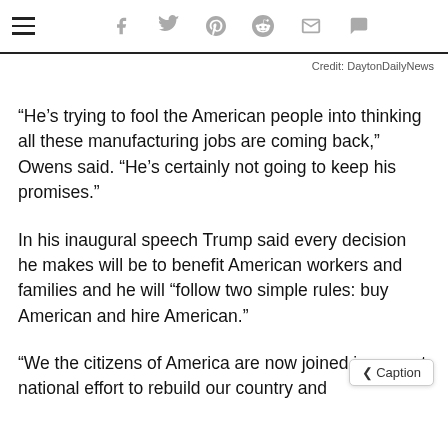social share icons: facebook, twitter, pinterest, reddit, email, comment
Credit: DaytonDailyNews
“He’s trying to fool the American people into thinking all these manufacturing jobs are coming back,” Owens said. “He’s certainly not going to keep his promises.”
In his inaugural speech Trump said every decision he makes will be to benefit American workers and families and he will “follow two simple rules: buy American and hire American.”
“We the citizens of America are now joined in a great national effort to rebuild our country and